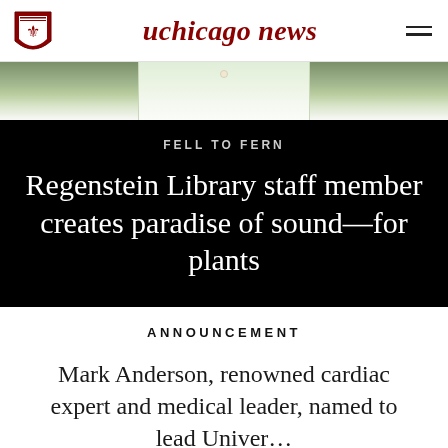uchicago news
[Figure (photo): Partial hero image showing green foliage and a white shirt, cropped at top of page]
FELL TO FERN
Regenstein Library staff member creates paradise of sound—for plants
ANNOUNCEMENT
Mark Anderson, renowned cardiac expert and medical leader, named to lead Univer…